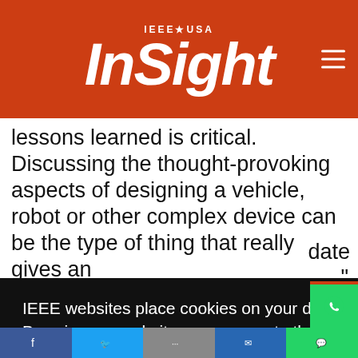IEEE★USA InSight
lessons learned is critical. Discussing the thought-provoking aspects of designing a vehicle, robot or other complex device can be the type of thing that really gives an update
[Figure (screenshot): Cookie consent overlay with text: IEEE websites place cookies on your device to give you the best user experience. By using our websites, you agree to the placement of these cookies. To learn more, read our Privacy Policy. Accept & Close button below.]